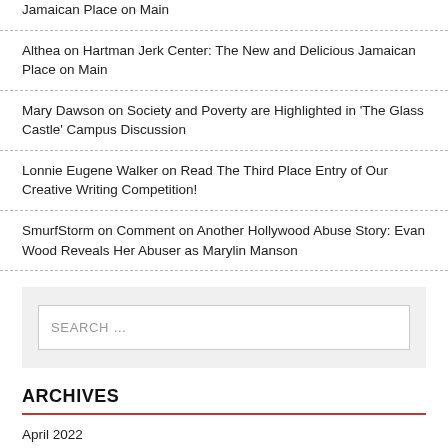Jamaican Place on Main
Althea on Hartman Jerk Center: The New and Delicious Jamaican Place on Main
Mary Dawson on Society and Poverty are Highlighted in 'The Glass Castle' Campus Discussion
Lonnie Eugene Walker on Read The Third Place Entry of Our Creative Writing Competition!
SmurfStorm on Comment on Another Hollywood Abuse Story: Evan Wood Reveals Her Abuser as Marylin Manson
SEARCH …
ARCHIVES
April 2022